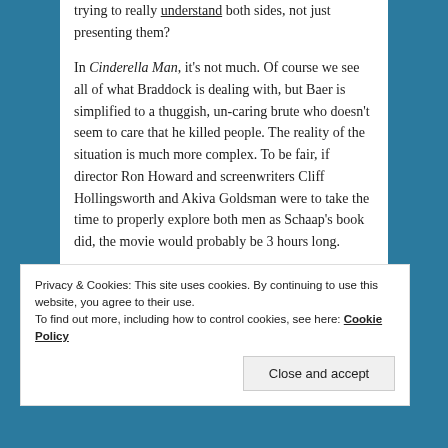trying to really understand both sides, not just presenting them?

In Cinderella Man, it's not much. Of course we see all of what Braddock is dealing with, but Baer is simplified to a thuggish, un-caring brute who doesn't seem to care that he killed people. The reality of the situation is much more complex. To be fair, if director Ron Howard and screenwriters Cliff Hollingsworth and Akiva Goldsman were to take the time to properly explore both men as Schaap's book did, the movie would probably be 3 hours long.

I'd sit through that, especially because Paul Giamatti is amazing as Braddock's manager Joe Gould.
Privacy & Cookies: This site uses cookies. By continuing to use this website, you agree to their use.
To find out more, including how to control cookies, see here: Cookie Policy
Close and accept